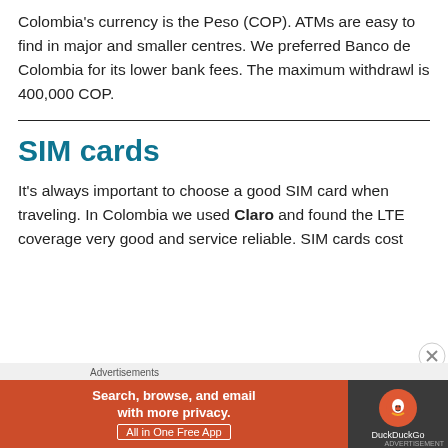Colombia's currency is the Peso (COP). ATMs are easy to find in major and smaller centres. We preferred Banco de Colombia for its lower bank fees. The maximum withdrawl is 400,000 COP.
SIM cards
It's always important to choose a good SIM card when traveling. In Colombia we used Claro and found the LTE coverage very good and service reliable. SIM cards cost
[Figure (other): DuckDuckGo advertisement banner: 'Search, browse, and email with more privacy. All in One Free App' with DuckDuckGo logo on dark background. Includes 'Advertisements' label and a close button.]